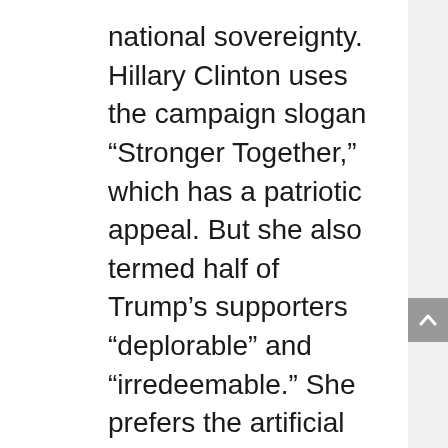national sovereignty. Hillary Clinton uses the campaign slogan “Stronger Together,” which has a patriotic appeal. But she also termed half of Trump’s supporters “deplorable” and “irredeemable.” She prefers the artificial George Soros-funded “social movements” that back her campaign.
By any objective measure, it can be argued that the stench of globalism is starting to affect everything, even perceptions of our founding documents. It may also invite foreign penetration into the highest levels of our